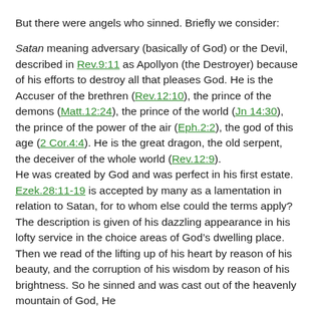But there were angels who sinned. Briefly we consider:
Satan meaning adversary (basically of God) or the Devil, described in Rev.9:11 as Apollyon (the Destroyer) because of his efforts to destroy all that pleases God. He is the Accuser of the brethren (Rev.12:10), the prince of the demons (Matt.12:24), the prince of the world (Jn 14:30), the prince of the power of the air (Eph.2:2), the god of this age (2 Cor.4:4). He is the great dragon, the old serpent, the deceiver of the whole world (Rev.12:9). He was created by God and was perfect in his first estate. Ezek.28:11-19 is accepted by many as a lamentation in relation to Satan, for to whom else could the terms apply? The description is given of his dazzling appearance in his lofty service in the choice areas of God’s dwelling place. Then we read of the lifting up of his heart by reason of his beauty, and the corruption of his wisdom by reason of his brightness. So he sinned and was cast out of the heavenly mountain of God, He